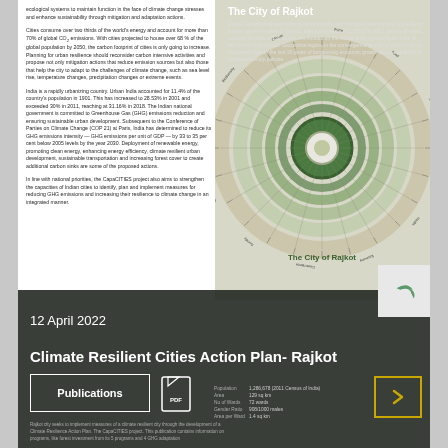ecological systems to maintain function in the face of climate change stresses and enhance sustainability through mitigation and adaptation actions.
Cities consume over two thirds of the world's energy and account for more than 70% of global CO2 emissions. With cities projected to house over 68 % of the global population by 2050, the carbon footprint of cities is only going to increase. Planning for urban resilience should reconsider carbon intensive activities and propose not only mitigation actions that reduce emission sources but also those that help the city to adapt to the challenges of climate change, such as sea level rise, temperature changes, precipitation changes or extreme events.
India is a rapidly urbanizing country. Urban India accounted for 11.4% of the country's population in 1901. This has increased to 28.53% in 2001 and exceeded 30% in 2011, reaching at 31.16% in 2018. The Indian national government is committed to Greenhouse Gas (GHG) emissions reduction and ensuring sustainable urban development. Subsequent to the Conference of Parties on Climate Change (COP 21) at Paris, India has determined to reduce its GHG emissions intensity — GHG emissions per unit of GDP — by 33 to 35 per cent below 2005 levels by the year 2030. Deployment of renewable energy, promoting clean energy, enhancing energy efficiency, climate resilient urban development, sustainable transportation and increasing forest cover to create additional carbon sinks are some of the proposed actions.
In line with national priorities, the CapaCITIES project also aims to strengthen the capacities of Indian cities to identify, plan and implement measures for reducing GHG emissions and increasing their resilience to climate change in an integrated manner.
[Figure (other): Circular diagram showing city climate resilience framework with concentric rings and labeled sectors, green and cream colored]
12 April 2022
Climate Resilient Cities Action Plan- Rajkot
Publications
The City of Rajkot
Rajkot, an industrial town famous for its foundry and machine tools industry, is the fourth largest city in the state of Gujarat, with a population of 1,286,678 (2011 census of India), covering an area of 129 sq km. It is located on the banks of the Aji and Nyari rivers at the centre of peninsular Saurashtra region, in the convergence of rural to semi-urban to urbanized cities in the last 20 years of burgeoning economic growth due to Indian liberal business friendly policies.
| Population | Area | No of Wards | Gender Ratio | Area per Ward |
| --- | --- | --- | --- | --- |
| 1,286,678 (2011 Census of India) | 129 sq km | 72 wards | 908/1000 males | 1.4 sq km |